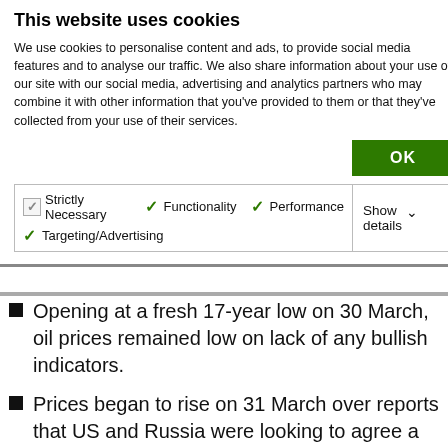This website uses cookies
We use cookies to personalise content and ads, to provide social media features and to analyse our traffic. We also share information about your use of our site with our social media, advertising and analytics partners who may combine it with other information that you've provided to them or that they've collected from your use of their services.
Opening at a fresh 17-year low on 30 March, oil prices remained low on lack of any bullish indicators.
Prices began to rise on 31 March over reports that US and Russia were looking to agree a deal to stabilise oil prices.
Brent oil prices then reported their biggest daily gain on record on 2 April following the